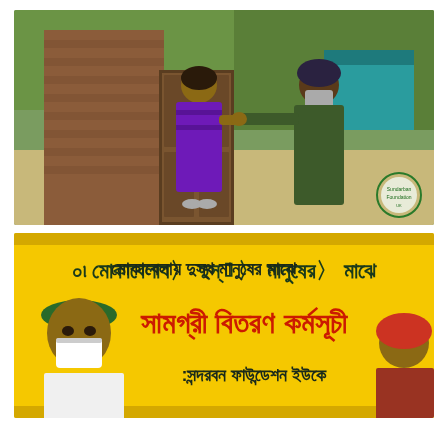[Figure (photo): A woman in a purple floral sari standing in a doorway of a brick building receiving something from a man wearing a mask and dark olive clothing. Outdoor scene with trees and a teal structure in the background. A circular logo/watermark is visible in the lower right.]
[Figure (photo): A yellow banner with Bengali text about COVID-19 relief distribution program by Sundarban Foundation UK. In the foreground, a man wearing a mask and green cap stands in front of the banner. A woman is partially visible on the right side.]